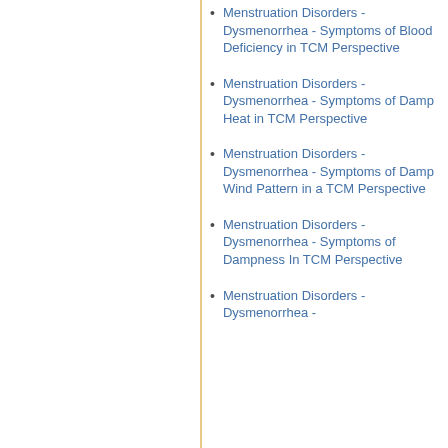Menstruation Disorders - Dysmenorrhea - Symptoms of Blood Deficiency in TCM Perspective
Menstruation Disorders - Dysmenorrhea - Symptoms of Damp Heat in TCM Perspective
Menstruation Disorders - Dysmenorrhea - Symptoms of Damp Wind Pattern in a TCM Perspective
Menstruation Disorders - Dysmenorrhea - Symptoms of Dampness In TCM Perspective
Menstruation Disorders - Dysmenorrhea -